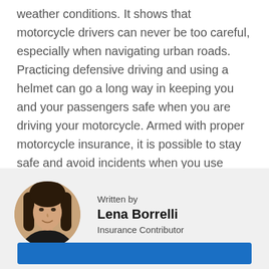weather conditions. It shows that motorcycle drivers can never be too careful, especially when navigating urban roads. Practicing defensive driving and using a helmet can go a long way in keeping you and your passengers safe when you are driving your motorcycle. Armed with proper motorcycle insurance, it is possible to stay safe and avoid incidents when you use protective measures and practice safe driving.
[Figure (photo): Circular portrait photo of Lena Borrelli, a woman with long dark hair, smiling, wearing a dark top.]
Written by
Lena Borrelli
Insurance Contributor